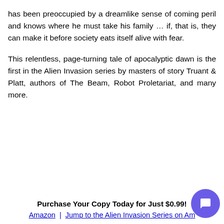has been preoccupied by a dreamlike sense of coming peril and knows where he must take his family … if, that is, they can make it before society eats itself alive with fear.
This relentless, page-turning tale of apocalyptic dawn is the first in the Alien Invasion series by masters of story Truant & Platt, authors of The Beam, Robot Proletariat, and many more.
Purchase Your Copy Today for Just $0.99!
Amazon  |  Jump to the Alien Invasion Series on Am…